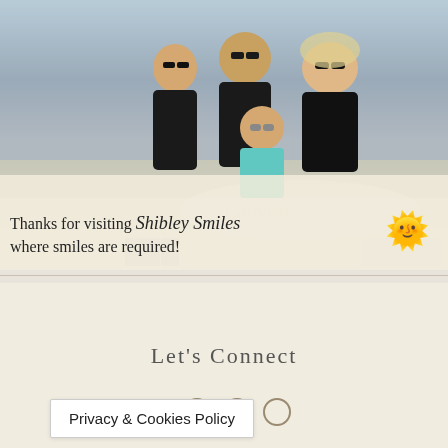[Figure (photo): A family photo showing five people wearing sunglasses posing together, likely on a Carnival cruise ship. The image has a banner overlay at the bottom with text about the blog 'Shibley Smiles'.]
Thanks for visiting Shibley Smiles where smiles are required! 🌞
Let's Connect
Privacy & Cookies Policy